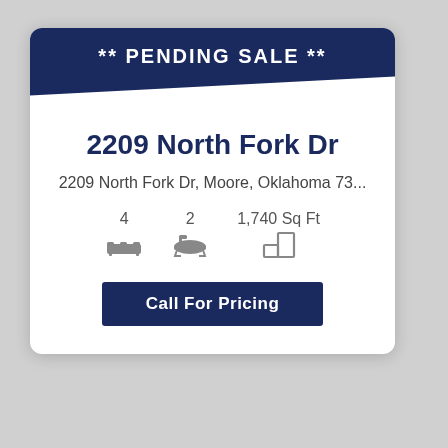** PENDING SALE **
2209 North Fork Dr
2209 North Fork Dr, Moore, Oklahoma 73...
4   2   1,740 Sq Ft
Call For Pricing